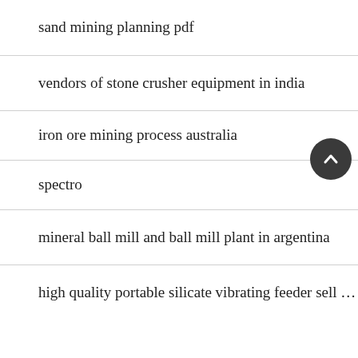sand mining planning pdf
vendors of stone crusher equipment in india
iron ore mining process australia
spectro
mineral ball mill and ball mill plant in argentina
high quality portable silicate vibrating feeder sell …